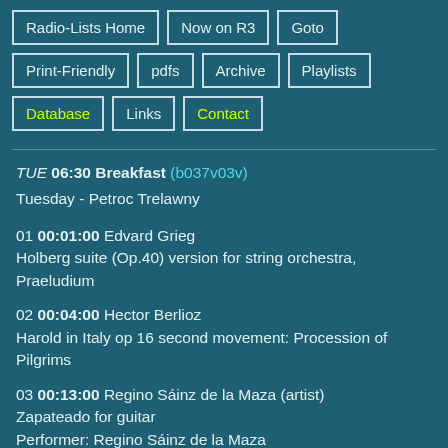Radio-Lists Home
Now on R3
Goto
Print-Friendly
pdfs
Archive
Playlists
Database
Links
Contact
TUE 06:30 Breakfast (b037v03v)
Tuesday - Petroc Trelawny
01 00:01:00 Edvard Grieg
Holberg suite (Op.40) version for string orchestra, Praeludium
02 00:04:00 Hector Berlioz
Harold in Italy op 16 second movement: Procession of Pilgrims
03 00:13:00 Regino Sáinz de la Maza (artist)
Zapateado for guitar
Performer: Regino Sáinz de la Maza